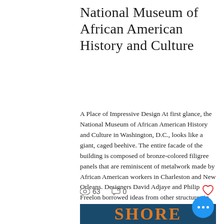National Museum of African American History and Culture
A Place of Impressive Design At first glance, the National Museum of African American History and Culture in Washington, D.C., looks like a giant, caged beehive. The entire facade of the building is composed of bronze-colored filigree panels that are reminiscent of metalwork made by African American workers in Charleston and New Orleans. Designers David Adjaye and Philip Freelon borrowed ideas from other structures in Washington, D.C., along with traditional Yoruban African a
[Figure (screenshot): Bottom portion of a blog/article card showing view count (63), comment count (0), a heart/like icon in red outline, and a blue circular more-options button with three white dots. Below is a teal/navy card with orange bold text reading 'SHORE' partially visible.]